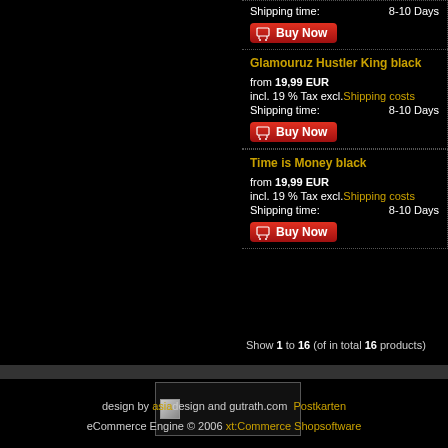Shipping time: 8-10 Days (partial, top of page)
Buy Now (button, top partial)
Glamouruz Hustler King black
from 19,99 EUR
incl. 19 % Tax excl. Shipping costs
Shipping time: 8-10 Days
Buy Now
Time is Money black
from 19,99 EUR
incl. 19 % Tax excl. Shipping costs
Shipping time: 8-10 Days
Buy Now
Show 1 to 16 (of in total 16 products)
[Figure (other): Logo/image placeholder in footer]
design by asiadesign and gutrath.com Postkarten
eCommerce Engine © 2006 xt:Commerce Shopsoftware